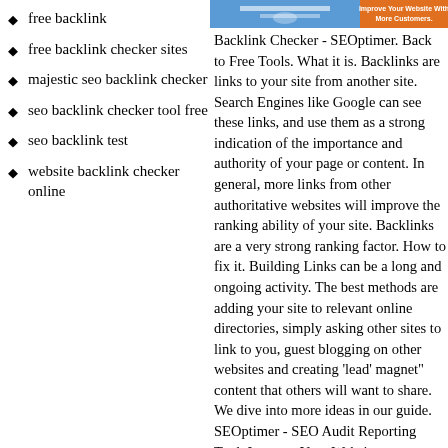free backlink
free backlink checker sites
majestic seo backlink checker
seo backlink checker tool free
seo backlink test
website backlink checker online
[Figure (screenshot): Screenshot of SEOptimer website header with blue and orange banner]
Backlink Checker - SEOptimer. Back to Free Tools. What it is. Backlinks are links to your site from another site. Search Engines like Google can see these links, and use them as a strong indication of the importance and authority of your page or content. In general, more links from other authoritative websites will improve the ranking ability of your site. Backlinks are a very strong ranking factor. How to fix it. Building Links can be a long and ongoing activity. The best methods are adding your site to relevant online directories, simply asking other sites to link to you, guest blogging on other websites and creating 'lead' magnet" content that others will want to share. We dive into more ideas in our guide. SEOptimer - SEO Audit Reporting Tool. Improve Your Website.